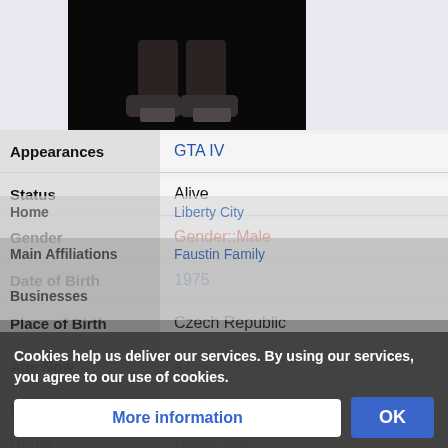[Figure (photo): Dark screenshot showing lower body/legs of a character, cropped image from a wiki page for GTA IV character]
| Field | Value |
| --- | --- |
| Appearances | GTA IV |
| Status | Alive |
| Gender | Gender::Male |
| Date of Birth | 1975 |
| Place of Birth | Czech Republic |
| Age Now | 47 |
| Nationality | Czech |
| Home | Liberty City |
| Main Affiliations | Faustin Family |
| Businesses |  |
Cookies help us deliver our services. By using our services, you agree to our use of cookies.
More information
OK